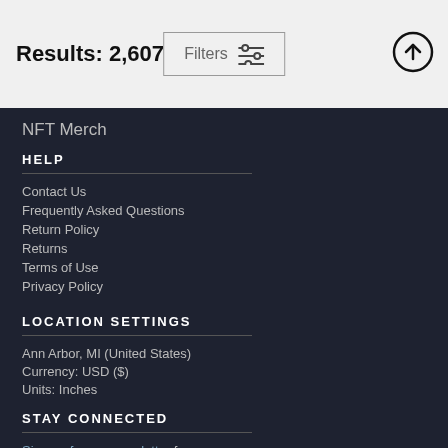Results: 2,607
Filters
NFT Merch
HELP
Contact Us
Frequently Asked Questions
Return Policy
Returns
Terms of Use
Privacy Policy
LOCATION SETTINGS
Ann Arbor, MI (United States)
Currency: USD ($)
Units: Inches
STAY CONNECTED
Sign up for our newsletter for exclusive deals, discount codes,